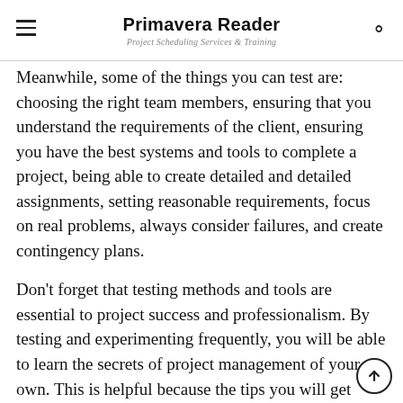Primavera Reader
Project Scheduling Services & Training
Meanwhile, some of the things you can test are: choosing the right team members, ensuring that you understand the requirements of the client, ensuring you have the best systems and tools to complete a project, being able to create detailed and detailed assignments, setting reasonable requirements, focus on real problems, always consider failures, and create contingency plans.
Don't forget that testing methods and tools are essential to project success and professionalism. By testing and experimenting frequently, you will be able to learn the secrets of project management of your own. This is helpful because the tips you will get from other project managers may not apply to your project. You have to realize that every project is unique and every PM is different.